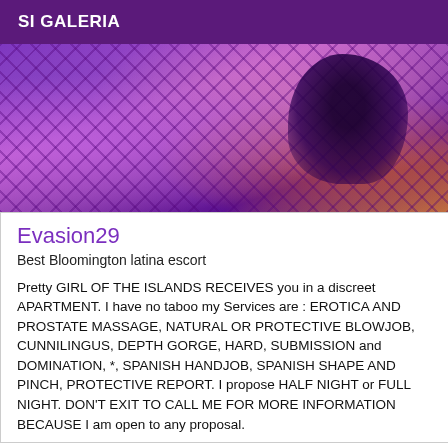SI GALERIA
[Figure (photo): A photograph with purple and pink tones showing what appears to be fishnet fabric and a dark figure, with moody purple ambient lighting.]
Evasion29
Best Bloomington latina escort
Pretty GIRL OF THE ISLANDS RECEIVES you in a discreet APARTMENT. I have no taboo my Services are : EROTICA AND PROSTATE MASSAGE, NATURAL OR PROTECTIVE BLOWJOB, CUNNILINGUS, DEPTH GORGE, HARD, SUBMISSION and DOMINATION, *, SPANISH HANDJOB, SPANISH SHAPE AND PINCH, PROTECTIVE REPORT. I propose HALF NIGHT or FULL NIGHT. DON'T EXIT TO CALL ME FOR MORE INFORMATION BECAUSE I am open to any proposal.